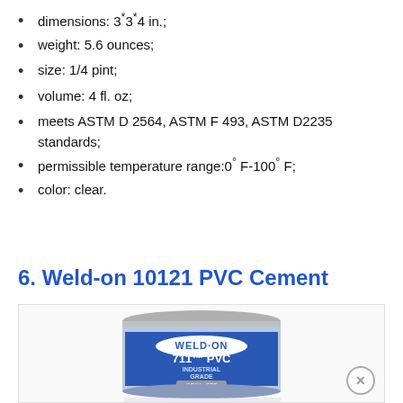dimensions: 3*3*4 in.;
weight: 5.6 ounces;
size: 1/4 pint;
volume: 4 fl. oz;
meets ASTM D 2564, ASTM F 493, ASTM D2235 standards;
permissible temperature range:0° F-100° F;
color: clear.
6. Weld-on 10121 PVC Cement
[Figure (photo): Photo of a Weld-On 711 PVC Industrial Grade cement can with gray label, metal lid, and reflection below]